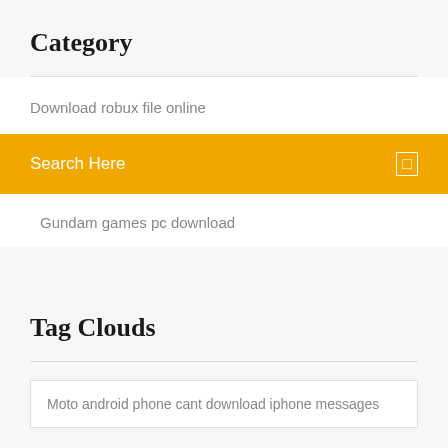Category
Download robux file online
Search Here
Gundam games pc download
Tag Clouds
Moto android phone cant download iphone messages